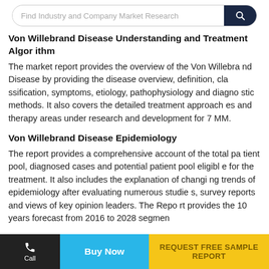Find Industry and Company Market Research
Von Willebrand Disease Understanding and Treatment Algorithm
The market report provides the overview of the Von Willebrand Disease by providing the disease overview, definition, classification, symptoms, etiology, pathophysiology and diagnostic methods. It also covers the detailed treatment approaches and therapy areas under research and development for 7 MM.
Von Willebrand Disease Epidemiology
The report provides a comprehensive account of the total patient pool, diagnosed cases and potential patient pool eligible for the treatment. It also includes the explanation of changing trends of epidemiology after evaluating numerous studies, survey reports and views of key opinion leaders. The Report provides the 10 years forecast from 2016 to 2028 segmen
Call | Buy Now | REQUEST FREE SAMPLE REPORT